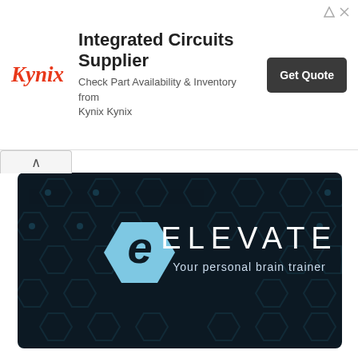[Figure (infographic): Kynix advertisement banner: logo on left, headline 'Integrated Circuits Supplier', subtext 'Check Part Availability & Inventory from Kynix Kynix', and a dark 'Get Quote' button on the right.]
[Figure (screenshot): Elevate brain training app hero image: dark background with hexagonal icon grid, light blue hexagon logo with stylized 'e', large white text 'ELEVATE', and subtitle 'Your personal brain trainer'.]
Elevate – Brain Training Premium 5.65.0 Apk
by GhostRider | Aug 21, 2022 | Education, Android Apps | 3 Comments
Elevate - Brain Training Premium Apk Elevate is a brain training program designed to improve attention, speaking skills, processing speed, memory, math skills, and more. Each person is provided with his or her